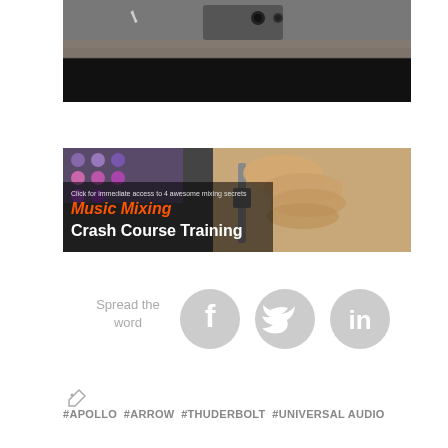[Figure (photo): Close-up photo of audio recording equipment / interface with headphone jack and connectors visible, dark background with gray surface]
[Figure (photo): Music Mixing Crash Course Training banner ad showing a hand on a mixing board with orange and white text: 'Click for immediate access to 4 awesome mixing secrets', 'Music Mixing Crash Course Training']
Spread the word
[Figure (infographic): Three circular gray social media share buttons: Facebook (f), Twitter (bird), LinkedIn (in)]
[Figure (illustration): Tag/label icon]
#APOLLO  #ARROW  #THUDERBOLT  #UNIVERSAL AUDIO